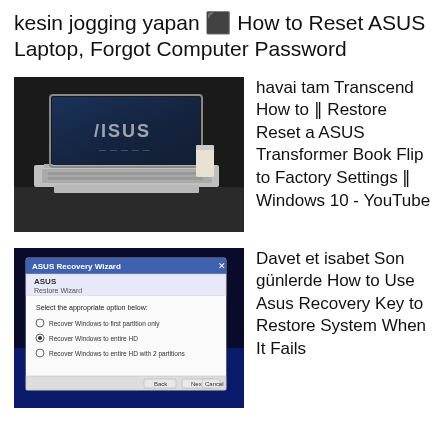kesin jogging yapan 🡒 How to Reset ASUS Laptop, Forgot Computer Password
[Figure (photo): Photo of an ASUS laptop on a desk showing the ASUS boot screen]
havai tam Transcend How to ‖ Restore Reset a ASUS Transformer Book Flip to Factory Settings ‖ Windows 10 - YouTube
[Figure (screenshot): Screenshot of ASUS Recovery Wizard dialog box with restore options]
Davet et isabet Son günlerde How to Use Asus Recovery Key to Restore System When It Fails